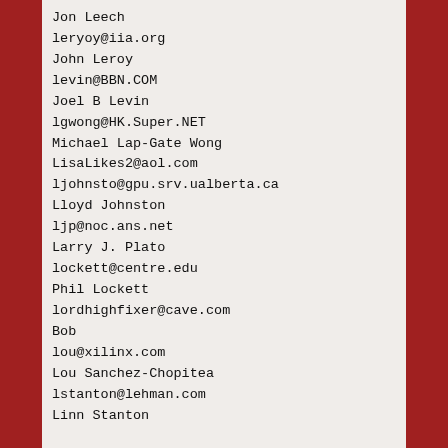Jon Leech
leryoy@iia.org
John Leroy
levin@BBN.COM
Joel B Levin
lgwong@HK.Super.NET
Michael Lap-Gate Wong
LisaLikes2@aol.com
ljohnsto@gpu.srv.ualberta.ca
Lloyd Johnston
ljp@noc.ans.net
Larry J. Plato
lockett@centre.edu
Phil Lockett
lordhighfixer@cave.com
Bob
lou@xilinx.com
Lou Sanchez-Chopitea
lstanton@lehman.com
Linn Stanton